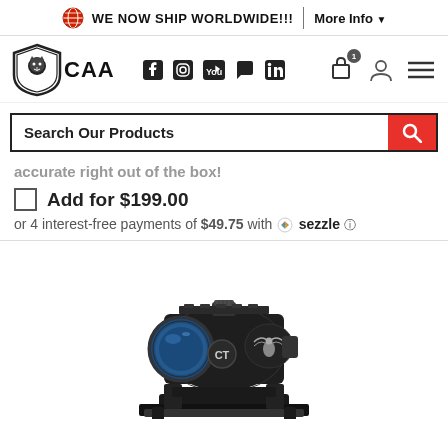WE NOW SHIP WORLDWIDE!!! | More Info
[Figure (logo): CAA logo with lion shield and text CAA, social media icons (Facebook, Instagram, YouTube, chat, LinkedIn), cart with badge 1, user icon, hamburger menu]
Search Our Products
accurate right out of the box!
Add for $199.00
or 4 interest-free payments of $49.75 with sezzle
[Figure (photo): Black tactical red dot sight/scope mounted on a rail mount, with CT logo and eagle emblem visible on the body]